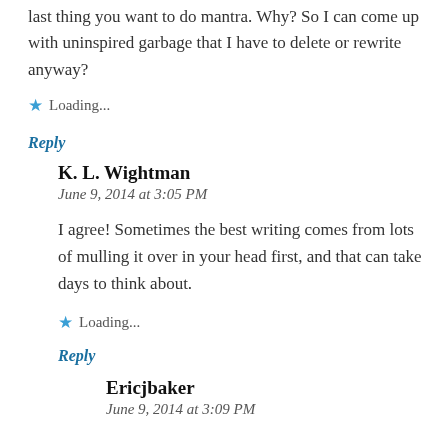last thing you want to do mantra. Why? So I can come up with uninspired garbage that I have to delete or rewrite anyway?
Loading...
Reply
K. L. Wightman
June 9, 2014 at 3:05 PM
I agree! Sometimes the best writing comes from lots of mulling it over in your head first, and that can take days to think about.
Loading...
Reply
Ericjbaker
June 9, 2014 at 3:09 PM